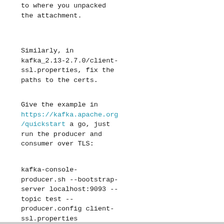to where you unpacked
the attachment.
Similarly, in
kafka_2.13-2.7.0/client-
ssl.properties, fix the
paths to the certs.
Give the example in
https://kafka.apache.org/quickstart a go, just
run the producer and
consumer over TLS:
kafka-console-producer.sh --bootstrap-server localhost:9093 --topic test --producer.config client-ssl.properties
kafka-console-consumer.sh --bootstrap-server localhost:9093 --topic test --consumer.config client-ssl.properties